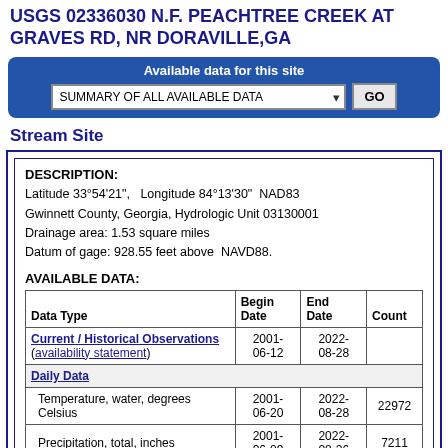USGS 02336030 N.F. PEACHTREE CREEK AT GRAVES RD, NR DORAVILLE,GA
Available data for this site
SUMMARY OF ALL AVAILABLE DATA  GO
Stream Site
DESCRIPTION:
Latitude 33°54'21",   Longitude 84°13'30"   NAD83
Gwinnett County, Georgia, Hydrologic Unit 03130001
Drainage area: 1.53 square miles
Datum of gage: 928.55 feet above   NAVD88.
AVAILABLE DATA:
| Data Type | Begin Date | End Date | Count |
| --- | --- | --- | --- |
| Current / Historical Observations (availability statement) | 2001-06-12 | 2022-08-28 |  |
| Daily Data |  |  |  |
| Temperature, water, degrees Celsius | 2001-06-20 | 2022-08-28 | 22972 |
| Precipitation, total, inches | 2001-06-09 | 2022-08-26 | 7211 |
| ... | 2001- | 2022- |  |